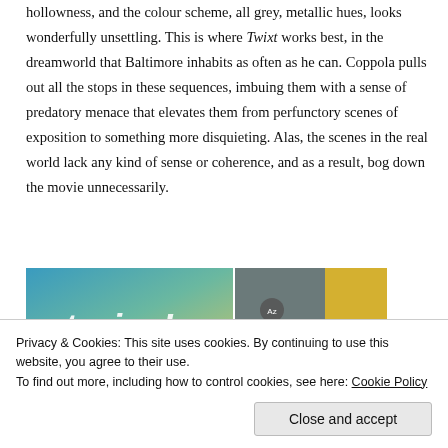hollowness, and the colour scheme, all grey, metallic hues, looks wonderfully unsettling. This is where Twixt works best, in the dreamworld that Baltimore inhabits as often as he can. Coppola pulls out all the stops in these sequences, imbuing them with a sense of predatory menace that elevates them from perfunctory scenes of exposition to something more disquieting. Alas, the scenes in the real world lack any kind of sense or coherence, and as a result, bog down the movie unnecessarily.
[Figure (screenshot): A partial screenshot of a webpage or app showing colourful banner with the word 'stories!' in stylized text on a blue-green gradient background, and a right panel showing a yellow jacket/puffer clothing item with interface controls]
Privacy & Cookies: This site uses cookies. By continuing to use this website, you agree to their use.
To find out more, including how to control cookies, see here: Cookie Policy
Close and accept